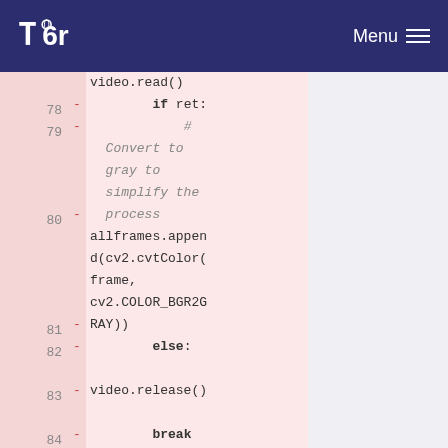Tor | Menu
[Figure (screenshot): Code diff view showing Python code lines 78-84 with line numbers, minus signs indicating removed lines, on a pink background. Lines show: if ret:, # Convert to gray to simplify the process, allframes.append(cv2.cvtColor(frame, cv2.COLOR_BGR2GRAY)), else:, video.release(), break, return, allframes]